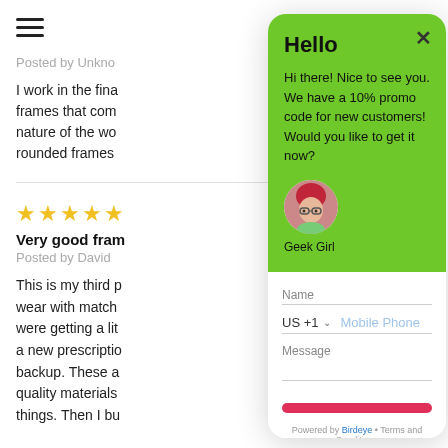[Figure (screenshot): Hamburger menu icon (three horizontal lines)]
Posted by Unkno
I work in the fina frames that com nature of the wo rounded frames
[Figure (other): 5 yellow star rating]
Very good fram
Posted by David
This is my third p wear with match were getting a lit a new prescriptio backup. These a quality materials things. Then I bu
[Figure (screenshot): Chat widget overlay with green header showing 'Hello' title, promo message, avatar of Geek Girl, and a contact form with Name, US +1 Mobile Phone, Message fields, a red send button, and Powered by Birdeye • Terms and Conditions footer.]